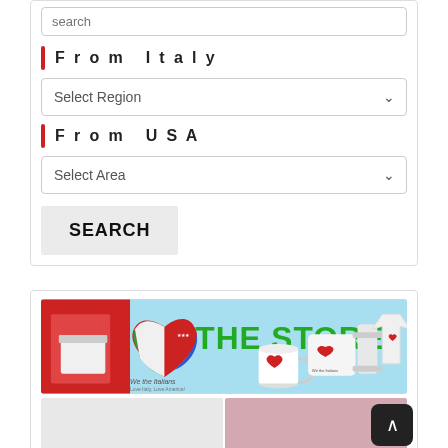search
From Italy
Select Region
From USA
Select Area
SEARCH
[Figure (illustration): THE STORE banner with Italian-American heart logo and merchandise (mugs, shirt, pillow, travel mug) on light blue background with 'We the Italians' branding]
[Figure (photo): Bottom strip showing two partial product images side by side — left gray background product, right pink/mauve garment]